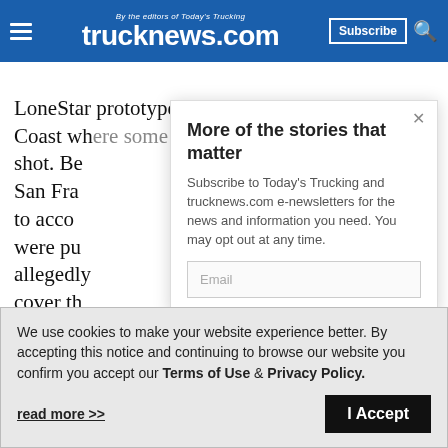trucknews.com - By the editors of Today's Trucking
LoneStar prototypes were sent to the US West Coast where some promotional video was to be shot. Be San Fra to acco were pu allegedly cover th phone c
More of the stories that matter
Subscribe to Today's Trucking and trucknews.com e-newsletters for the news and information you need. You may opt out at any time.
Email
We use cookies to make your website experience better. By accepting this notice and continuing to browse our website you confirm you accept our Terms of Use & Privacy Policy.
read more >>
I Accept